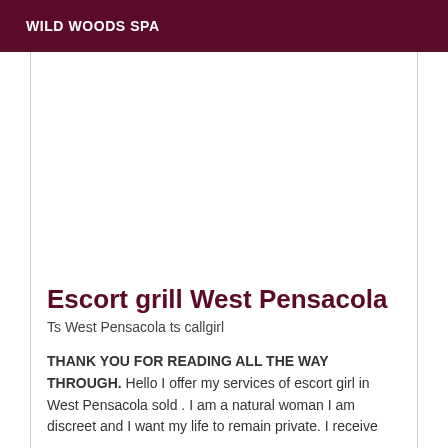WILD WOODS SPA
Escort grill West Pensacola
Ts West Pensacola ts callgirl
THANK YOU FOR READING ALL THE WAY THROUGH. Hello I offer my services of escort girl in West Pensacola sold . I am a natural woman I am discreet and I want my life to remain private. I receive